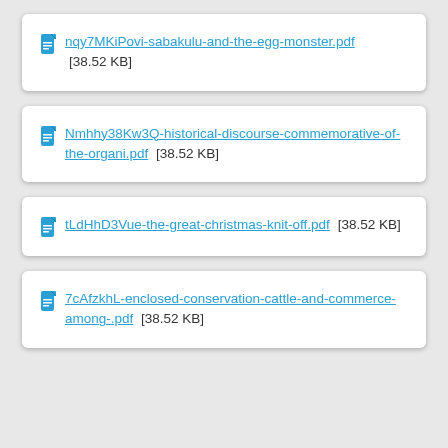nqy7MKiPovi-sabakulu-and-the-egg-monster.pdf [38.52 KB]
Nmhhy38Kw3Q-historical-discourse-commemorative-of-the-organi.pdf [38.52 KB]
tLdHhD3Vue-the-great-christmas-knit-off.pdf [38.52 KB]
7cAfzkhL-enclosed-conservation-cattle-and-commerce-among-.pdf [38.52 KB]